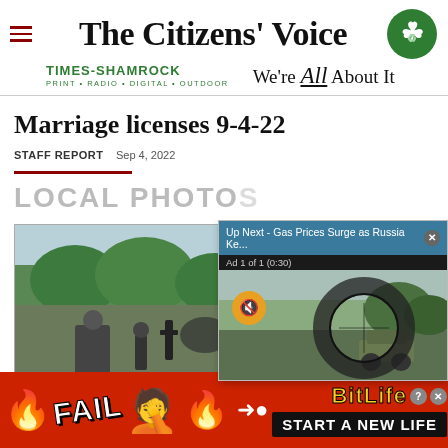The Citizens' Voice | TIMES-SHAMROCK PRINT · RADIO · DIGITAL · OUTDOOR | We're All About It
Marriage licenses 9-4-22
STAFF REPORT  Sep 4, 2022
LOCAL PHOTOS
[Figure (screenshot): Video overlay popup: 'Up Next - Gas Prices Surge as Russia Ke...' with close button X, Ad 1 of 1 (0:30) counter, mute button, and video thumbnail showing a circular sniper scope view of military vehicle in field]
[Figure (photo): Outdoor photo showing people and equipment at what appears to be an outdoor event, with trees in background]
[Figure (screenshot): BitLife advertisement banner: red background with FAIL text, facepalm emoji, flame emoji, sperm-and-egg logo, BitLife logo in yellow, and START A NEW LIFE text on black background]